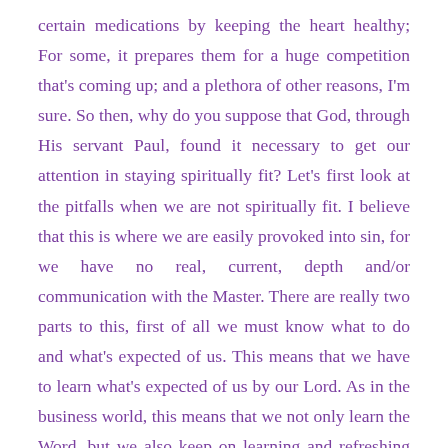certain medications by keeping the heart healthy; For some, it prepares them for a huge competition that's coming up; and a plethora of other reasons, I'm sure. So then, why do you suppose that God, through His servant Paul, found it necessary to get our attention in staying spiritually fit? Let's first look at the pitfalls when we are not spiritually fit. I believe that this is where we are easily provoked into sin, for we have no real, current, depth and/or communication with the Master. There are really two parts to this, first of all we must know what to do and what's expected of us. This means that we have to learn what's expected of us by our Lord. As in the business world, this means that we not only learn the Word, but we also keep on learning and refreshing our knowledge of the Word. Secondly, we must put into action all that we learn.